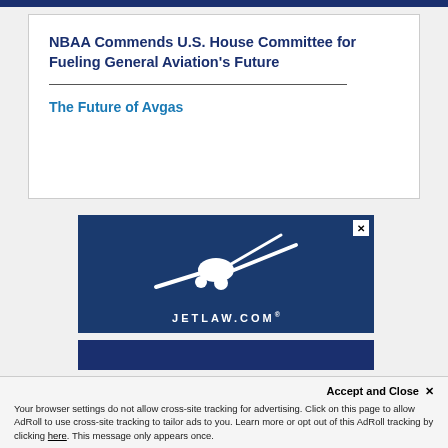NBAA Commends U.S. House Committee for Fueling General Aviation's Future
The Future of Avgas
[Figure (illustration): JETLAW.COM advertisement with white airplane silhouette on dark blue background]
[Figure (photo): Partial second advertisement banner, dark blue]
Accept and Close ✕
Your browser settings do not allow cross-site tracking for advertising. Click on this page to allow AdRoll to use cross-site tracking to tailor ads to you. Learn more or opt out of this AdRoll tracking by clicking here. This message only appears once.